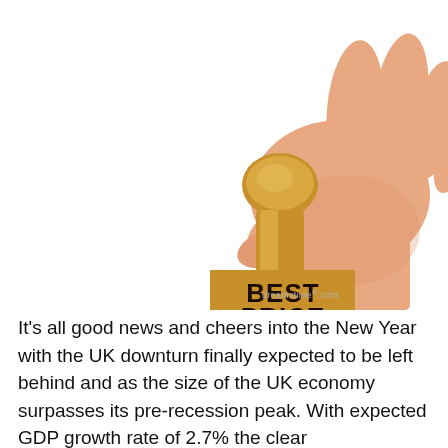[Figure (photo): A hand holding a wooden rubber stamp with 'BEST PRICE' text on the stamp pad, shown on a white background. Dreamstime.com watermark visible at bottom of image.]
It's all good news and cheers into the New Year with the UK downturn finally expected to be left behind and as the size of the UK economy surpasses its pre-recession peak. With expected GDP growth rate of 2.7% the clear